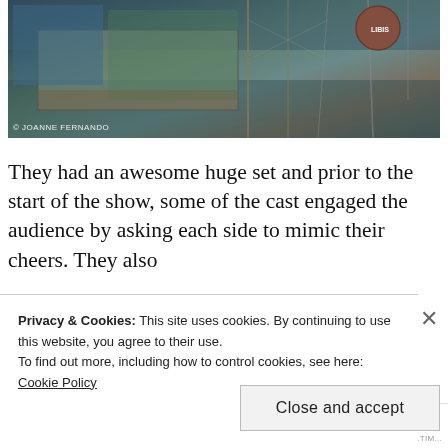[Figure (photo): Industrial shipyard or construction set photo showing large metal structures, scaffolding, and a large spherical object, with a watermark 'JOANNE FERNANDO' at bottom left]
They had an awesome huge set and prior to the start of the show, some of the cast engaged the audience by asking each side to mimic their cheers. They also
Privacy & Cookies: This site uses cookies. By continuing to use this website, you agree to their use.
To find out more, including how to control cookies, see here: Cookie Policy
Close and accept